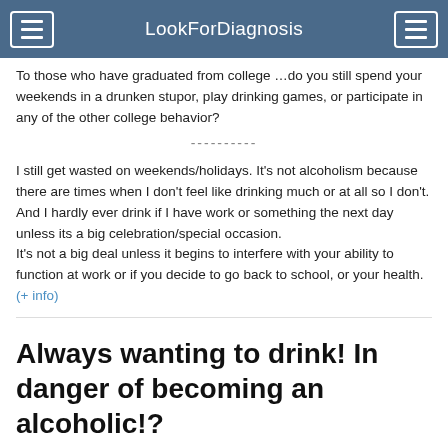LookForDiagnosis
To those who have graduated from college …do you still spend your weekends in a drunken stupor, play drinking games, or participate in any of the other college behavior?
I still get wasted on weekends/holidays. It's not alcoholism because there are times when I don't feel like drinking much or at all so I don't. And I hardly ever drink if I have work or something the next day unless its a big celebration/special occasion.
It's not a big deal unless it begins to interfere with your ability to function at work or if you decide to go back to school, or your health.  (+ info)
Always wanting to drink! In danger of becoming an alcoholic!?
Hello